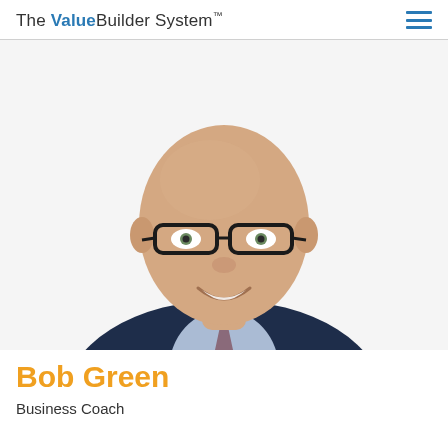The ValueBuilder System™
[Figure (photo): Professional headshot of Bob Green, a bald man wearing dark-rimmed glasses and a dark navy suit with a light blue shirt and patterned tie, smiling against a white background.]
Bob Green
Business Coach